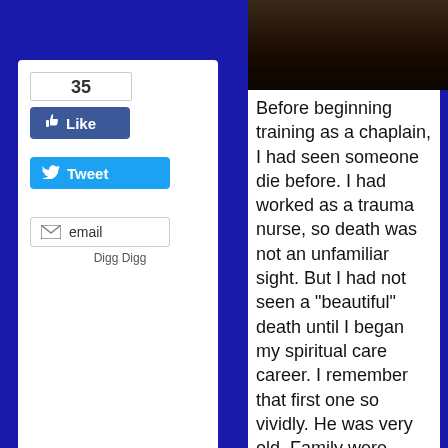[Figure (photo): Dark photo strip at the top, appears to be a muted/dark image]
[Figure (screenshot): Social sharing sidebar widget showing Facebook Like (35 likes), Tweet, email, and Digg Digg buttons on a white card]
Before beginning training as a chaplain, I had seen someone die before. I had worked as a trauma nurse, so death was not an unfamiliar sight. But I had not seen a "beautiful" death until I began my spiritual care career. I remember that first one so vividly. He was very old. Family were coming in, but they were far away. Only one of his daughters and a son-in-law were at his bedside. He had fought a long, hard life. To ease his symptoms the family had consented for me to do Healing